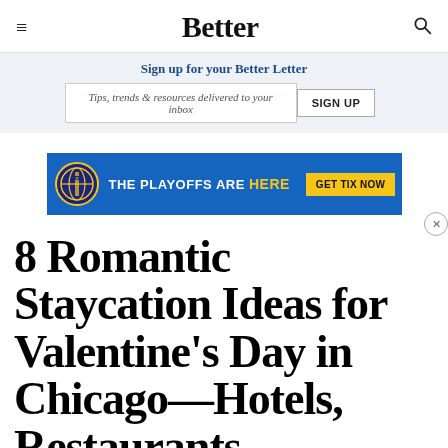Better
Sign up for your Better Letter
Tips, trends & resources delivered to your inbox
[Figure (other): Advertising banner for NBA playoffs: blue background with basketball logo, text 'THE PLAYOFFS ARE HERE' and yellow 'GET TIX NOW' button]
8 Romantic Staycation Ideas for Valentine's Day in Chicago—Hotels, Restaurants